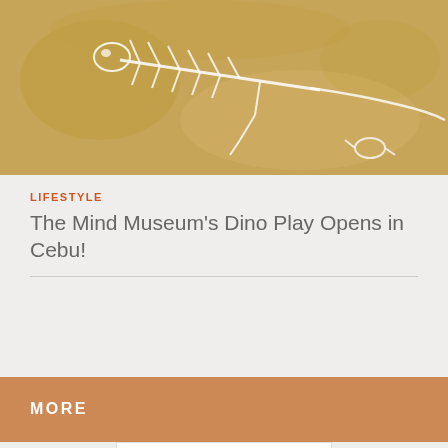[Figure (photo): Dinosaur skeleton/bones lying on sandy ground, viewed from above]
LIFESTYLE
The Mind Museum's Dino Play Opens in Cebu!
MORE
[Figure (logo): The Cebuano .com logo — 'THE' in small text, 'CEBUANO' in large bold letters, '.com' superscript, tagline 'cebu like a local']